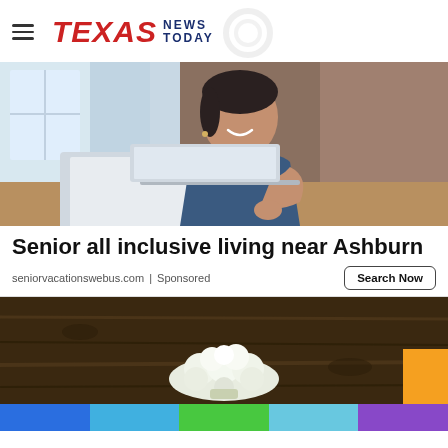TEXAS NEWS TODAY
[Figure (photo): Woman smiling, looking at a laptop computer in a kitchen setting]
Senior all inclusive living near Ashburn
seniorvacationswebus.com | Sponsored
[Figure (photo): Cauliflower on a dark wooden surface with an orange badge in bottom right corner]
[Figure (other): Bottom navigation bar with colored segments: blue, light blue, green, light blue/teal, purple]